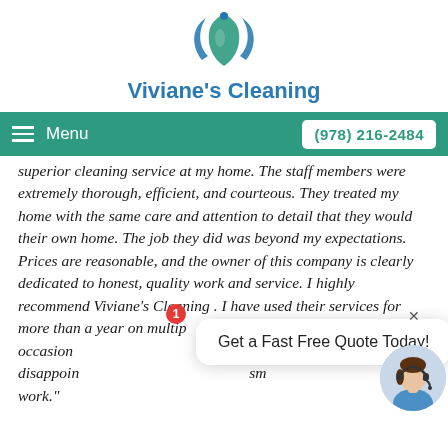[Figure (logo): Viviane's Cleaning logo — blue/teal circular swoosh design with water droplet]
Viviane's Cleaning
≡ Menu    (978) 216-2484
superior cleaning service at my home. The staff members were extremely thorough, efficient, and courteous. They treated my home with the same care and attention to detail that they would their own home. The job they did was beyond my expectations. Prices are reasonable, and the owner of this company is clearly dedicated to honest, quality work and service. I highly recommend Viviane's Cleaning . I have used their services for more than a year on multiple occasions... never been disappointed... sm... work."
Get a Fast Free Quote Today!